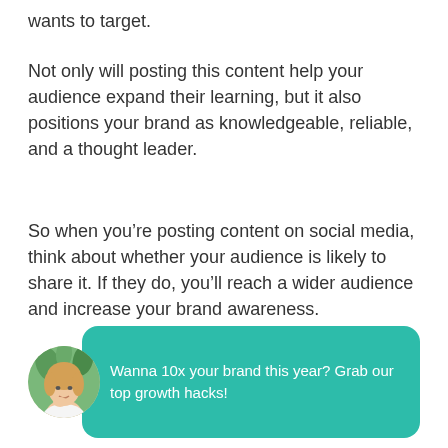wants to target.
Not only will posting this content help your audience expand their learning, but it also positions your brand as knowledgeable, reliable, and a thought leader.
So when you’re posting content on social media, think about whether your audience is likely to share it. If they do, you’ll reach a wider audience and increase your brand awareness.
[Figure (infographic): Circular avatar photo of a woman with a teal speech bubble containing promotional text: 'Wanna 10x your brand this year? Grab our top growth hacks!']